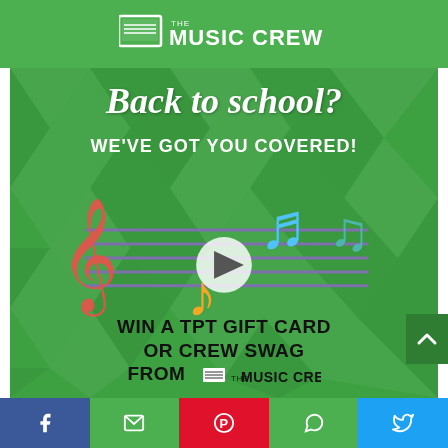[Figure (logo): The Music Crew logo with musical note icon and text]
[Figure (infographic): Back to school promotional graphic with music notes on staff lines, play button, and text: Back to school? We've got you covered! Win a TPT gift card or Crew Swag from The Music Crew]
[Figure (infographic): Social share bar with Facebook, email, Pinterest, WhatsApp, and Twitter buttons]